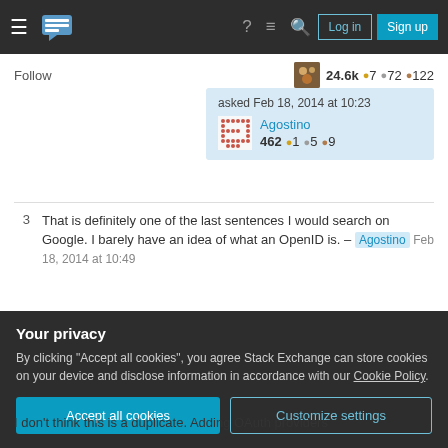Stack Exchange navigation bar with hamburger menu, logo, help, chat, search icons, Log in and Sign up buttons
Follow   24.6k • 7 • 72 • 122
asked Feb 18, 2014 at 10:23
Agostino
462 • 1 • 5 • 9
3  That is definitely one of the last sentences I would search on Google. I barely have an idea of what an OpenID is. – Agostino  Feb 18, 2014 at 10:49
1  Yeah, that's true -- in fact that's one of the reasons why we have duplicates (note the comment is an
I don't think this is a duplicate. Adding OAuth providers
Your privacy
By clicking "Accept all cookies", you agree Stack Exchange can store cookies on your device and disclose information in accordance with our Cookie Policy.
Accept all cookies   Customize settings